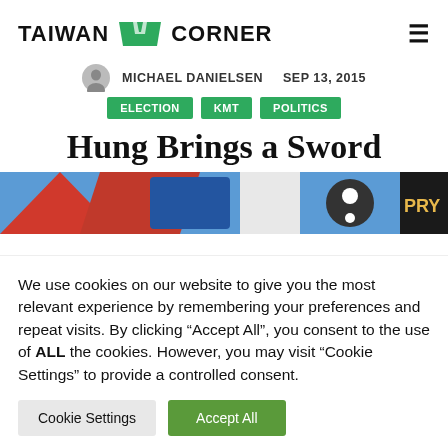[Figure (logo): Taiwan Corner logo with green book icon and bold text]
MICHAEL DANIELSEN   SEP 13, 2015
ELECTION
KMT
POLITICS
Hung Brings a Sword
[Figure (photo): Colorful banner image with stickers and graphics]
We use cookies on our website to give you the most relevant experience by remembering your preferences and repeat visits. By clicking "Accept All", you consent to the use of ALL the cookies. However, you may visit "Cookie Settings" to provide a controlled consent.
Cookie Settings | Accept All